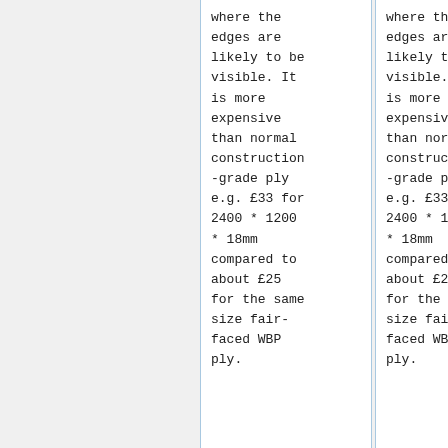where the edges are likely to be visible. It is more expensive than normal construction-grade ply e.g. £33 for 2400 * 1200 * 18mm compared to about £25 for the same size fair-faced WBP ply.
where the edges are likely to be visible. It is more expensive than normal construction-grade ply e.g. £33 for 2400 * 1200 * 18mm compared to about £25 for the same size fair-faced WBP ply.
+
If not